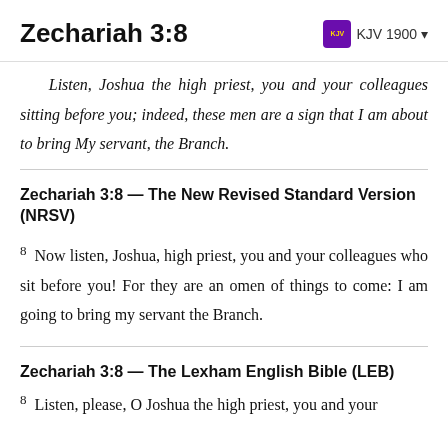Zechariah 3:8 — KJV 1900
Listen, Joshua the high priest, you and your colleagues sitting before you; indeed, these men are a sign that I am about to bring My servant, the Branch.
Zechariah 3:8 — The New Revised Standard Version (NRSV)
8 Now listen, Joshua, high priest, you and your colleagues who sit before you! For they are an omen of things to come: I am going to bring my servant the Branch.
Zechariah 3:8 — The Lexham English Bible (LEB)
8 Listen, please, O Joshua the high priest, you and your